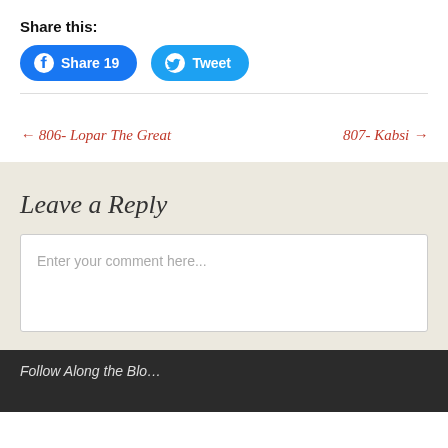Share this:
Share 19  Tweet
← 806- Lopar The Great
807- Kabsi →
Leave a Reply
Enter your comment here...
Follow Along the Blo…